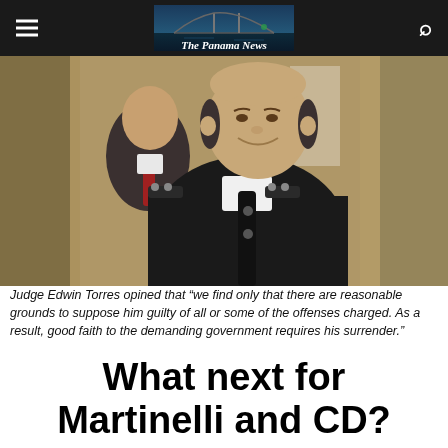The Panama News
[Figure (photo): Two men in dark formal/military-style jackets standing indoors. The man in the foreground is heavyset, smiling, wearing a dark uniform with epaulettes and a black tie. The man behind him wears a dark suit with a red tie.]
Judge Edwin Torres opined that “we find only that there are reasonable grounds to suppose him guilty of all or some of the offenses charged. As a result, good faith to the demanding government requires his surrender.”
What next for Martinelli and CD?